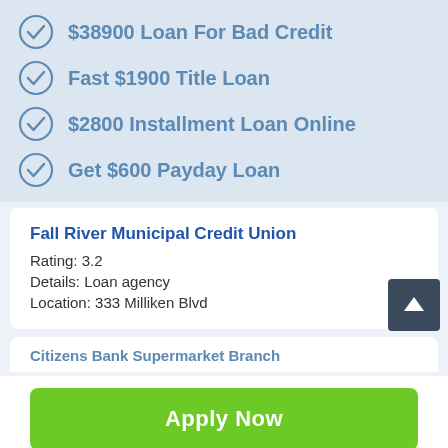$38900 Loan For Bad Credit
Fast $1900 Title Loan
$2800 Installment Loan Online
Get $600 Payday Loan
Fall River Municipal Credit Union
Rating: 3.2
Details: Loan agency
Location: 333 Milliken Blvd
Citizens Bank Supermarket Branch
Apply Now
Applying does NOT affect your credit score! No credit check to apply.